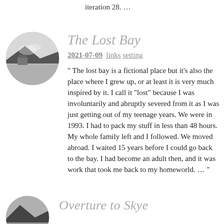iteration 28. …
[Figure (photo): Circular avatar photo showing a black and white image of a bay or coastal scene with a building]
The Lost Bay
2021-07-09  links  setting
" The lost bay is a fictional place but it's also the place where I grew up, or at least it is very much inspired by it. I call it "lost" because I was involuntarily and abruptly severed from it as I was just getting out of my teenage years. We were in 1993. I had to pack my stuff in less than 48 hours. My whole family left and I followed. We moved abroad. I waited 15 years before I could go back to the bay. I had become an adult then, and it was work that took me back to my homeworld. … "
[Figure (photo): Circular avatar photo, black and white image, partial view at bottom]
Overture to Skye